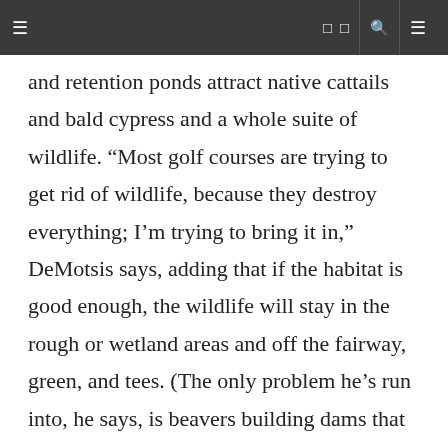≡  □ □  fl  ≡
and retention ponds attract native cattails and bald cypress and a whole suite of wildlife. “Most golf courses are trying to get rid of wildlife, because they destroy everything; I’m trying to bring it in,” DeMotsis says, adding that if the habitat is good enough, the wildlife will stay in the rough or wetland areas and off the fairway, green, and tees. (The only problem he’s run into, he says, is beavers building dams that flood sections of the course.)